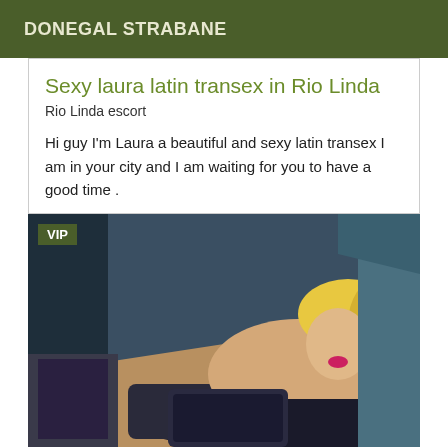DONEGAL STRABANE
Sexy laura latin transex in Rio Linda
Rio Linda escort
Hi guy I'm Laura a beautiful and sexy latin transex I am in your city and I am waiting for you to have a good time .
[Figure (photo): A blonde woman posing in a dimly lit room with luggage. A VIP badge is shown in the top left corner.]